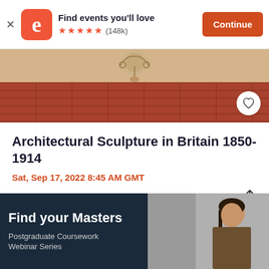[Figure (screenshot): Eventbrite app install banner with logo, star rating, and Continue button]
[Figure (photo): Architectural detail of a building facade with ornamental stone carving and brick wall]
Architectural Sculpture in Britain 1850-1914
Sat, Sep 17, 2022 8:45 AM GMT
£0 - £10
[Figure (photo): Advertisement banner: Find your Masters - Postgraduate Coursework Webinar Series, with image of a woman in business attire]